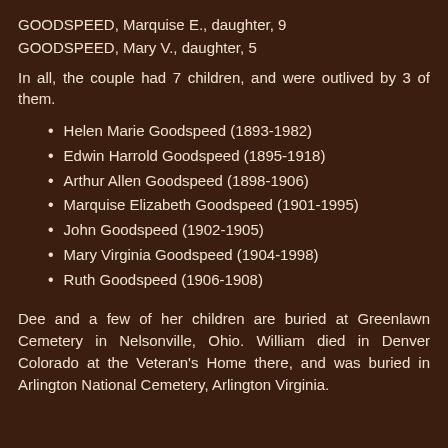GOODSPEED, Marquise E., daughter, 9
GOODSPEED, Mary V., daughter, 5
In all, the couple had 7 children, and were outlived by 3 of them.
Helen Marie Goodspeed (1893-1982)
Edwin Harrold Goodspeed (1895-1918)
Arthur Allen Goodspeed (1898-1906)
Marquise Elizabeth Goodspeed (1901-1995)
John Goodspeed (1902-1905)
Mary Virginia Goodspeed (1904-1998)
Ruth Goodspeed (1906-1908)
Dee and a few of her children are buried at Greenlawn Cemetery in Nelsonville, Ohio. William died in Denver Colorado at the Veteran's Home there, and was buried in Arlington National Cemetery, Arlington Virginia.